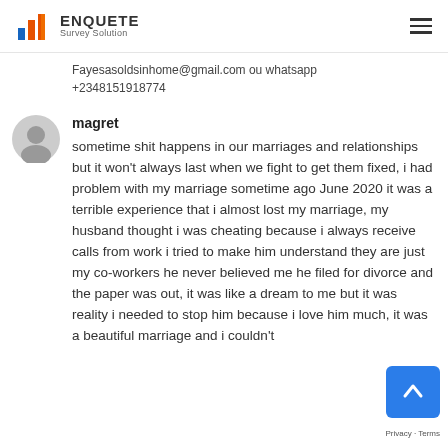ENQUETE Survey Solution
Fayesasoldsinhome@gmail.com ou whatsapp +2348151918774
magret
sometime shit happens in our marriages and relationships but it won't always last when we fight to get them fixed, i had problem with my marriage sometime ago June 2020 it was a terrible experience that i almost lost my marriage, my husband thought i was cheating because i always receive calls from work i tried to make him understand they are just my co-workers he never believed me he filed for divorce and the paper was out, it was like a dream to me but it was reality i needed to stop him because i love him much, it was a beautiful marriage and i couldn't